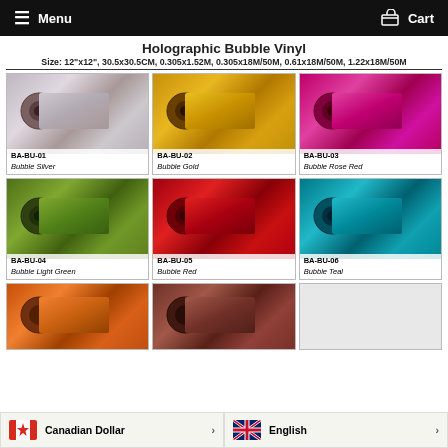Menu   Cart
Holographic Bubble Vinyl
Size: 12"x12", 30.5x30.5CM, 0.305x1.52M, 0.305x18M/50M, 0.61x18M/50M, 1.22x18M/50M
[Figure (photo): BA-BU-01 Bubble Silver holographic vinyl roll]
[Figure (photo): BA-BU-02 Bubble Gold holographic vinyl roll]
[Figure (photo): BA-BU-03 Bubble Rose Red holographic vinyl roll]
[Figure (photo): BA-BU-04 Bubble Light Green holographic vinyl roll]
[Figure (photo): BA-BU-05 Bubble Red holographic vinyl roll]
[Figure (photo): BA-BU-06 Bubble Teal holographic vinyl roll]
[Figure (photo): BA-BU-07 Bubble Orange (partially visible)]
[Figure (photo): BA-BU-08 Bubble Brown (partially visible)]
Canadian Dollar
English